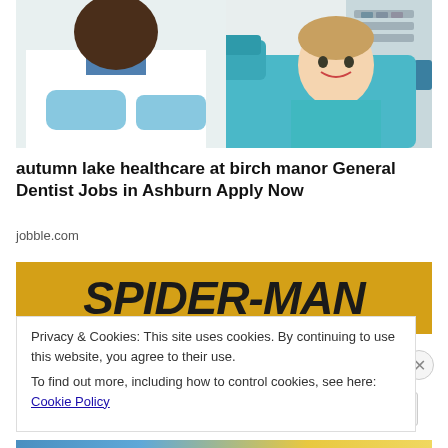[Figure (photo): Dentist in white coat and blue gloves with a young smiling boy patient in a dental chair in a clinic setting]
autumn lake healthcare at birch manor General Dentist Jobs in Ashburn Apply Now
jobble.com
[Figure (photo): Yellow banner with bold black italic text reading SPIDER-MAN]
Privacy & Cookies: This site uses cookies. By continuing to use this website, you agree to their use.
To find out more, including how to control cookies, see here: Cookie Policy
Close and accept